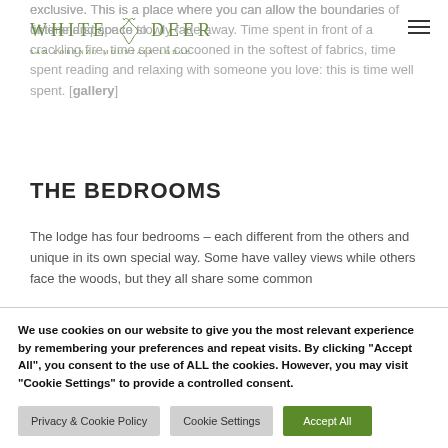WHITE DEER | SAN LORENZO MOUNTAIN LODGE
exclusive. This is a place where you can allow the boundaries of time and space to slowly fade away. Time spent in front of a crackling fire, time spent cocooned in the softest of fabrics, time spent reading and relaxing with someone you love: this is time well spent. [gallery]
THE BEDROOMS
The lodge has four bedrooms – each different from the others and unique in its own special way. Some have valley views while others face the woods, but they all share some common
We use cookies on our website to give you the most relevant experience by remembering your preferences and repeat visits. By clicking "Accept All", you consent to the use of ALL the cookies. However, you may visit "Cookie Settings" to provide a controlled consent.